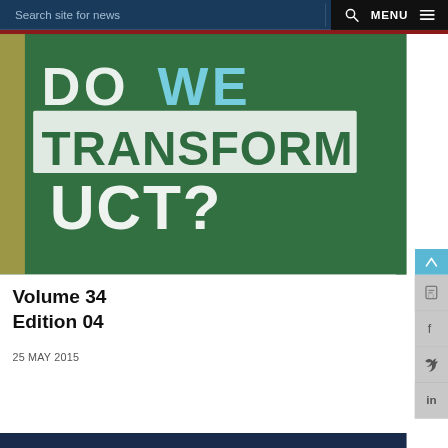Search site for news   MENU
[Figure (photo): Chalkboard sign reading 'DO WE TRANSFORM UCT?' in white and blue chalk letters on green background]
Volume 34
Edition 04
25 MAY 2015
[Figure (photo): Bottom partial image showing text 'RHODES FALLS' in large white letters on dark blue background]